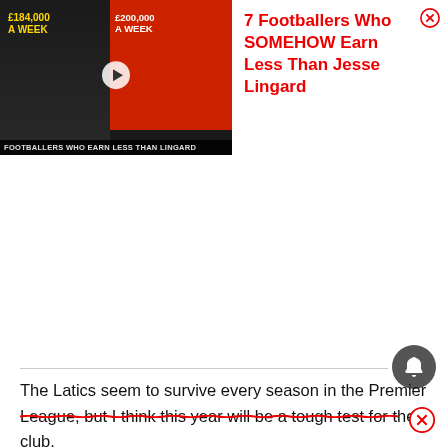[Figure (screenshot): Ad banner thumbnail showing two footballers with text '£184,000 A WEEK' and '£200,000 A WEEK' overlaid on a dark/red background, with caption 'FOOTBALLERS WHO EARN LESS THAN LINGARD']
7 Footballers Who SOMEHOW Earn Less Than Jesse Lingard
The Latics seem to survive every season in the Premier League, but I think this year will be a tough test for the club. However, I could be very wrong. If they perform in th...